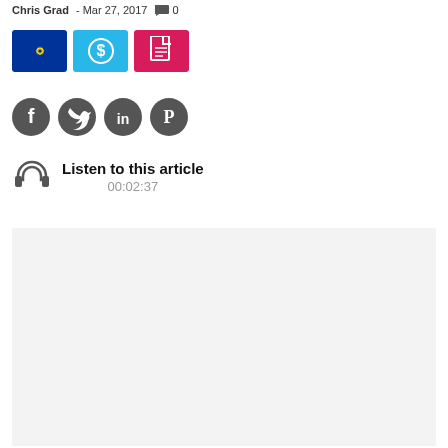Chris Grad - Mar 27, 2017 💬 0
[Figure (screenshot): Three colored icon buttons: EU flag (blue), dollar sign (cyan/light blue), PDF icon (crimson/pink)]
[Figure (screenshot): Four social media icon buttons: Facebook, Twitter, LinkedIn, Pinterest — all dark gray circles]
Listen to this article
00:02:37
[Figure (other): Gray placeholder content area]